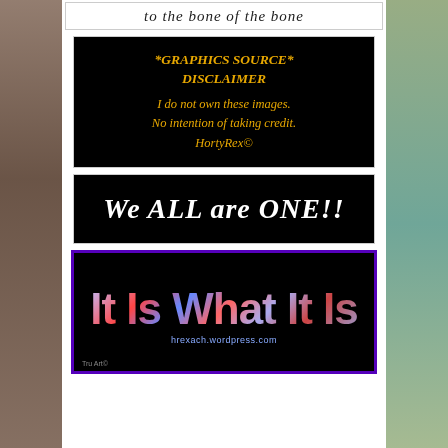to the bone of the bone
[Figure (illustration): Black background disclaimer card with orange italic bold text: *GRAPHICS SOURCE* DISCLAIMER / I do not own these images. / No intention of taking credit. / HortyRex©]
[Figure (illustration): Black background card with large white bold italic text: We ALL are ONE!!]
[Figure (illustration): Black background card with purple border, large stylized colorful text 'It Is What It Is', URL hrexach.wordpress.com, and credit Tru Art©]